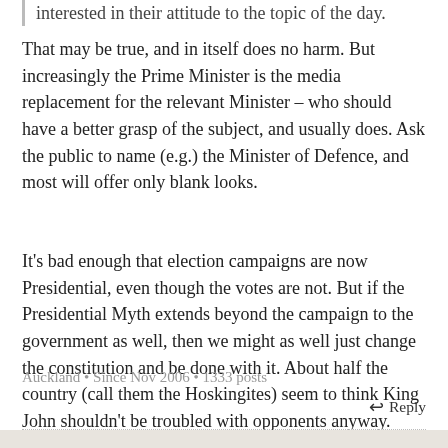interested in their attitude to the topic of the day.
That may be true, and in itself does no harm. But increasingly the Prime Minister is the media replacement for the relevant Minister – who should have a better grasp of the subject, and usually does. Ask the public to name (e.g.) the Minister of Defence, and most will offer only blank looks.
It's bad enough that election campaigns are now Presidential, even though the votes are not. But if the Presidential Myth extends beyond the campaign to the government as well, then we might as well just change the constitution and be done with it. About half the country (call them the Hoskingites) seem to think King John shouldn't be troubled with opponents anyway.
Alternatively, the media could just remember that we have a Parliament and Cabinet, and report the news accordingly.
Auckland • Since Nov 2006 • 1333 posts
↩ Reply